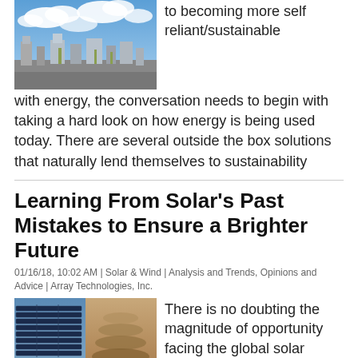[Figure (photo): City skyline with industrial buildings under a blue sky with clouds]
to becoming more self reliant/sustainable with energy, the conversation needs to begin with taking a hard look on how energy is being used today. There are several outside the box solutions that naturally lend themselves to sustainability
Learning From Solar's Past Mistakes to Ensure a Brighter Future
01/16/18, 10:02 AM | Solar & Wind | Analysis and Trends, Opinions and Advice | Array Technologies, Inc.
[Figure (photo): Solar panels and a desert landscape, with overlay text: Learning From Solar's Past Mistakes to Ensure a Brighter Future]
There is no doubting the magnitude of opportunity facing the global solar